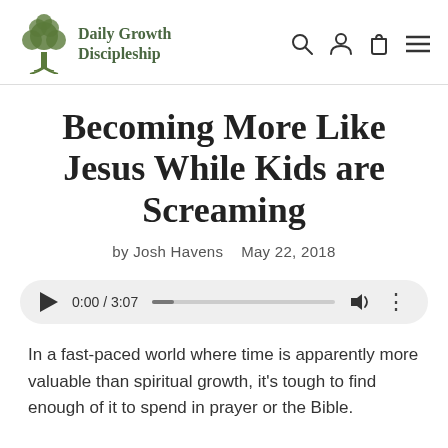Daily Growth Discipleship
Becoming More Like Jesus While Kids are Screaming
by Josh Havens   May 22, 2018
[Figure (other): Audio player showing 0:00 / 3:07 with play button, progress bar, volume icon, and more options icon]
In a fast-paced world where time is apparently more valuable than spiritual growth, it's tough to find enough of it to spend in prayer or the Bible.